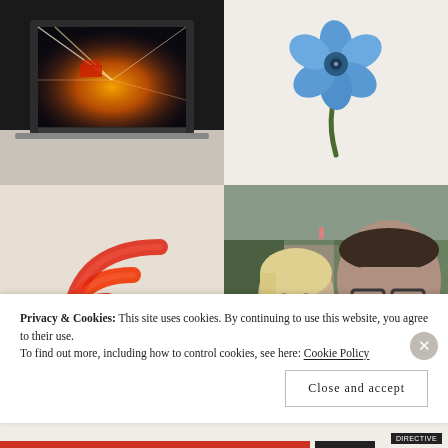[Figure (photo): Laptop computer with bright light trails cityscape on screen, shot from above at an angle]
[Figure (illustration): Hand-drawn blue flower with green stem on white background]
[Figure (logo): 3D red RSS/wifi signal icon logo]
[Figure (photo): Selfie of two people outdoors near a river path, man with glasses and woman with blonde hair]
Privacy & Cookies: This site uses cookies. By continuing to use this website, you agree to their use.
To find out more, including how to control cookies, see here: Cookie Policy
DIRECTIVE